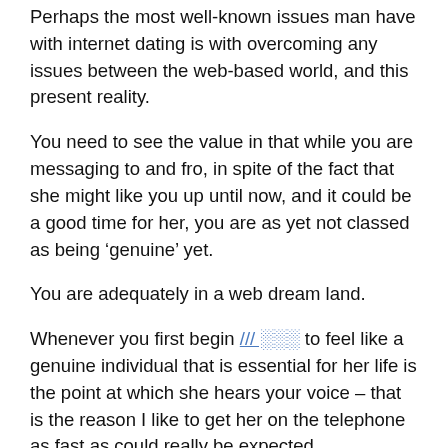Perhaps the most well-known issues man have with internet dating is with overcoming any issues between the web-based world, and this present reality.
You need to see the value in that while you are messaging to and fro, in spite of the fact that she might like you up until now, and it could be a good time for her, you are as yet not classed as being ‘genuine’ yet.
You are adequately in a web dream land.
Whenever you first begin [link] to feel like a genuine individual that is essential for her life is the point at which she hears your voice – that is the reason I like to get her on the telephone as fast as could really be expected.